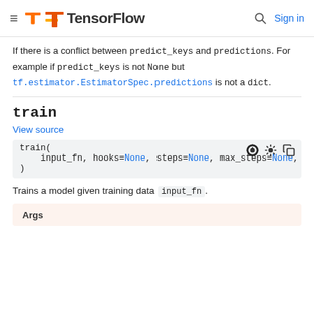TensorFlow  Sign in
If there is a conflict between predict_keys and predictions. For example if predict_keys is not None but tf.estimator.EstimatorSpec.predictions is not a dict.
train
View source
train(
    input_fn, hooks=None, steps=None, max_steps=None,
)
Trains a model given training data input_fn.
Args